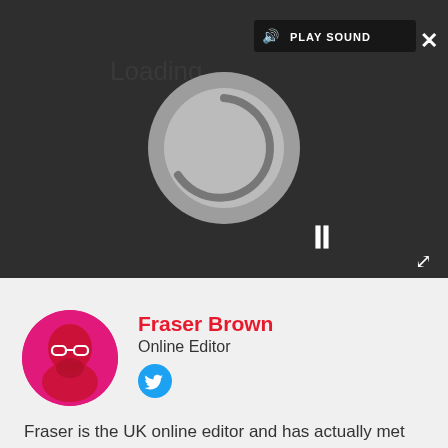[Figure (screenshot): Video/audio player UI with dark background, loading spinner, pause icon, and PLAY SOUND button]
Fraser Brown
Online Editor
[Figure (illustration): Twitter bird icon in a blue circle]
[Figure (photo): Circular avatar photo of Fraser Brown on a pink/magenta background]
Fraser is the UK online editor and has actually met The Internet in person. With over a decade of experience, he's been around the block a few times, serving as a freelancer, news editor and prolific reviewer. Strategy games have been a 30-year-long obsession, from tiny RTSs to sprawling